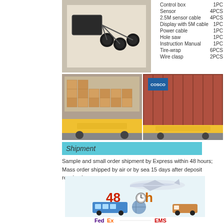[Figure (photo): Product photo showing parking sensor kit with control box and sensors in white packaging]
Control box   1PC
Sensor   4PCS
2.5M sensor cable   4PCS
Display with 5M cable   1PC
Power cable   1PC
Hole saw   1PC
Instruction Manual   1PC
Tire-wrap   6PCS
Wire clasp   2PCS
[Figure (photo): Two photos of shipping containers on trucks loaded with boxed goods]
Shipment
Sample and small order shipment by Express within 48 hours; Mass order shipped by air or by sea 15 days after deposit received..
[Figure (photo): Composite shipment image showing airplane, bus, van, packages and 48h text with stopwatch]
[Figure (logo): FedEx and EMS courier logos at bottom]